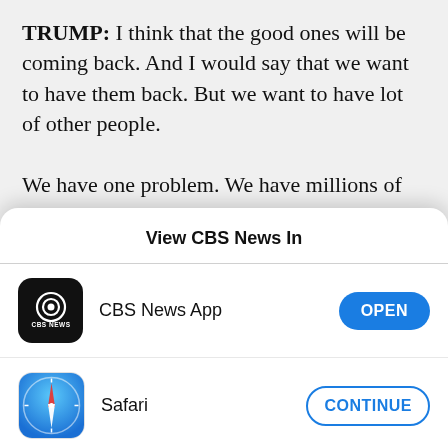TRUMP: I think that the good ones will be coming back. And I would say that we want to have them back. But we want to have lot of other people.

We have one problem. We have millions of people waiting on lists that have gone through a legal process and they can't get into the country. We have to take care of them. I want people to come in. They
View CBS News In
[Figure (logo): CBS News app icon - black rounded square with CBS eye logo and CBS NEWS text]
CBS News App
OPEN
[Figure (logo): Safari browser icon - blue circle with compass needle design]
Safari
CONTINUE